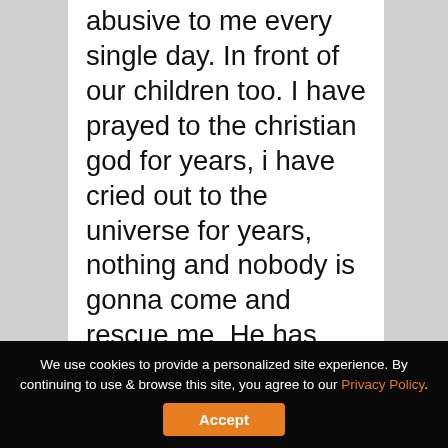abusive to me every single day. In front of our children too. I have prayed to the christian god for years, i have cried out to the universe for years, nothing and nobody is gonna come and rescue me. He has told me that he frequently wishes me dead. I wish it could be different but by now i wish him dead too.
We use cookies to provide a personalized site experience. By continuing to use & browse this site, you agree to our Privacy Policy. Accept